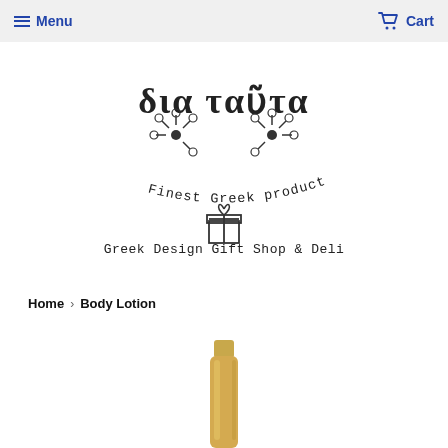Menu   Cart
[Figure (logo): Dia Tauta logo with Greek text, floral decorations, gift box icon, and text 'Finest Greek products' and 'Greek Design Gift Shop & Deli']
Home › Body Lotion
[Figure (photo): Partial view of a gold/metallic body lotion bottle at bottom of page]